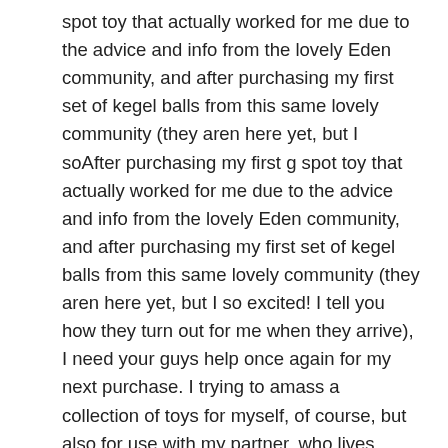spot toy that actually worked for me due to the advice and info from the lovely Eden community, and after purchasing my first set of kegel balls from this same lovely community (they aren here yet, but I soAfter purchasing my first g spot toy that actually worked for me due to the advice and info from the lovely Eden community, and after purchasing my first set of kegel balls from this same lovely community (they aren here yet, but I so excited! I tell you how they turn out for me when they arrive), I need your guys help once again for my next purchase. I trying to amass a collection of toys for myself, of course, but also for use with my partner, who lives abroad. I won be reunited with him until January, but we be together again for what will surly be five, blissful months. He lives in a country where sex toys are rare, and then on the spendy side when you do find them, so EdenFantasys has been an awesome way for me to interact with a knowledgeable, friendly community